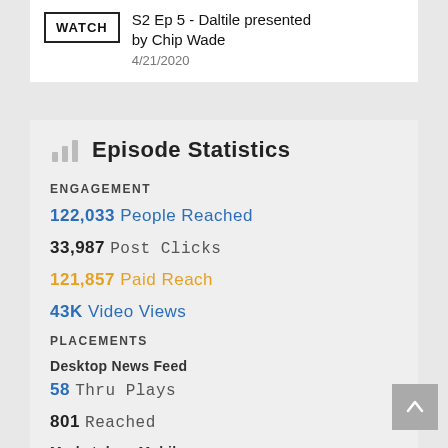WATCH
S2 Ep 5 - Daltile presented by Chip Wade
4/21/2020
Episode Statistics
ENGAGEMENT
122,033 People Reached
33,987 Post Clicks
121,857 Paid Reach
43K Video Views
PLACEMENTS
Desktop News Feed
58 Thru Plays
801 Reached
Marketplace Mobile
6,576 Thru Plays